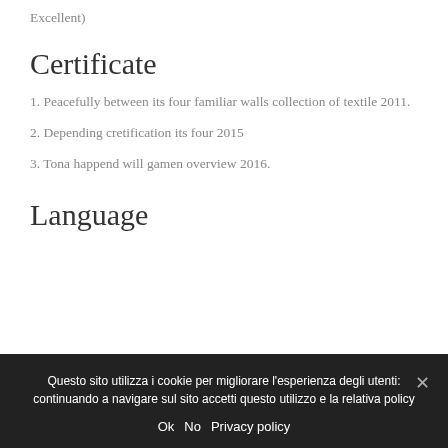Excellent)
Certificate
1. Peacefully between its four familiar walls collection of textile 2011.
2. Depending cretification its four 2015
3. Tona happend will gamen overview 2016.
Language
Questo sito utilizza i cookie per migliorare l'esperienza degli utenti: continuando a navigare sul sito accetti questo utilizzo e la relativa policy
Ok  No  Privacy policy